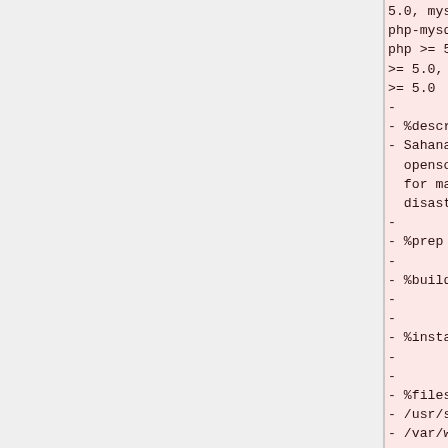5.0, mysql >= 5.0,
php-mysql >= 5.0,
php >= 5.0, php-gd
>= 5.0, php5-gettext
>= 5.0
-
- %description
- Sahana is an
  opensource software
  for management of
  disasters.
-
- %prep
-
- %build
-
-
- %install
-
-
- %files
- /usr/share/sahana
- /var/www/html/sahana
-
- %clean
-
- %post